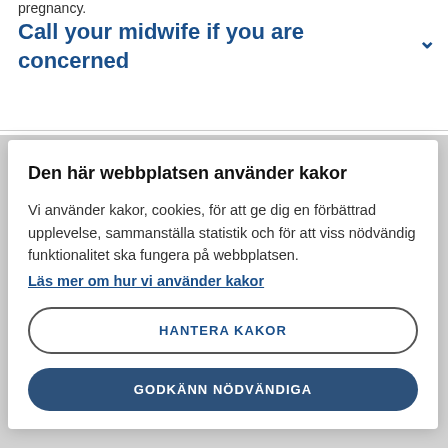pregnancy.
Call your midwife if you are concerned
Den här webbplatsen använder kakor
Vi använder kakor, cookies, för att ge dig en förbättrad upplevelse, sammanställa statistik och för att viss nödvändig funktionalitet ska fungera på webbplatsen.
Läs mer om hur vi använder kakor
HANTERA KAKOR
GODKÄNN NÖDVÄNDIGA